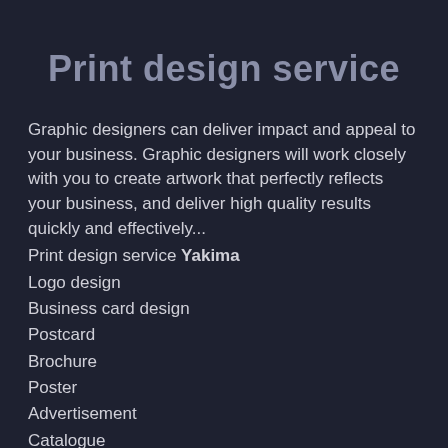Print design service
Graphic designers can deliver impact and appeal to your business. Graphic designers will work closely with you to create artwork that perfectly reflects your business, and deliver high quality results quickly and effectively...
Print design service Yakima
Logo design
Business card design
Postcard
Brochure
Poster
Advertisement
Catalogue
Envelope